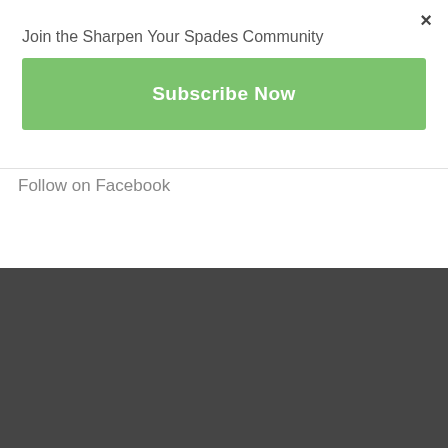×
Join the Sharpen Your Spades Community
Subscribe Now
Follow on Facebook
Come join me